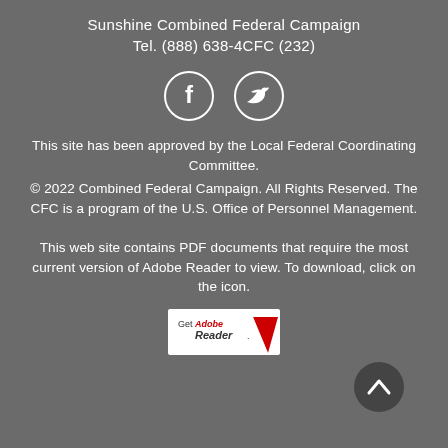Sunshine Combined Federal Campaign
Tel. (888) 638-4CFC (232)
[Figure (illustration): Social media icons: Facebook and Twitter circles outlined in white on grey background]
This site has been approved by the Local Federal Coordinating Committee.
© 2022 Combined Federal Campaign. All Rights Reserved. The CFC is a program of the U.S. Office of Personnel Management.
This web site contains PDF documents that require the most current version of Adobe Reader to view. To download, click on the icon.
[Figure (logo): Get Adobe Reader badge/logo]
[Figure (illustration): Scroll to top button: dark circle with white upward chevron arrow]